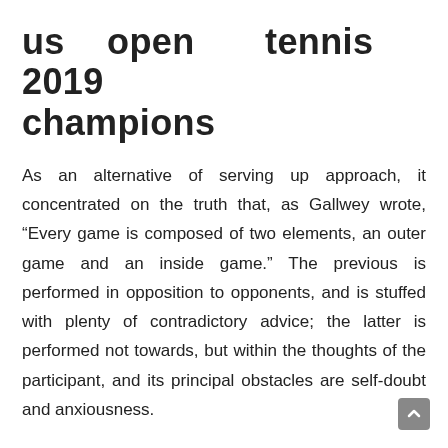us open tennis 2019 champions
As an alternative of serving up approach, it concentrated on the truth that, as Gallwey wrote, “Every game is composed of two elements, an outer game and an inside game.” The previous is performed in opposition to opponents, and is stuffed with plenty of contradictory advice; the latter is performed not towards, but within the thoughts of the participant, and its principal obstacles are self-doubt and anxiousness.
conclusion
If the trailing player wins the sport (tying the set 6-6) a tie-break is played. The referee or referee’s assistant,